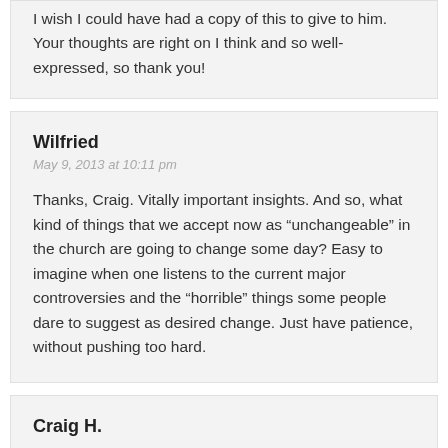I wish I could have had a copy of this to give to him. Your thoughts are right on I think and so well-expressed, so thank you!
Wilfried
May 9, 2013 at 10:11 pm
Thanks, Craig. Vitally important insights. And so, what kind of things that we accept now as “unchangeable” in the church are going to change some day? Easy to imagine when one listens to the current major controversies and the “horrible” things some people dare to suggest as desired change. Just have patience, without pushing too hard.
Craig H.